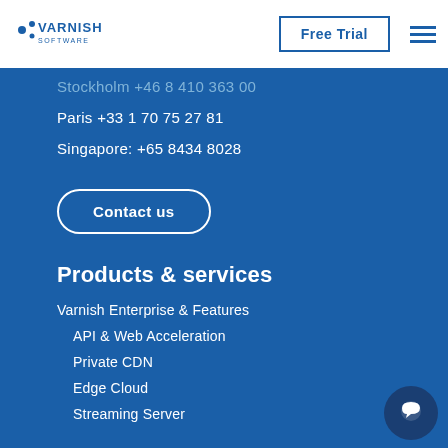[Figure (logo): Varnish Software logo with blue dots and text]
Free Trial
Stockholm +46 8 410 363 00
Paris +33 1 70 75 27 81
Singapore: +65 8434 8028
Contact us
Products & services
Varnish Enterprise & Features
API & Web Acceleration
Private CDN
Edge Cloud
Streaming Server